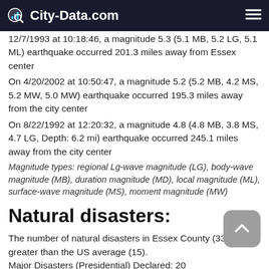City-Data.com
12/7/1993 at 10:18:46, a magnitude 5.3 (5.1 MB, 5.2 LG, 5.1 ML) earthquake occurred 201.3 miles away from Essex center
On 4/20/2002 at 10:50:47, a magnitude 5.2 (5.2 MB, 4.2 MS, 5.2 MW, 5.0 MW) earthquake occurred 195.3 miles away from the city center
On 8/22/1992 at 12:20:32, a magnitude 4.8 (4.8 MB, 3.8 MS, 4.7 LG, Depth: 6.2 mi) earthquake occurred 245.1 miles away from the city center
Magnitude types: regional Lg-wave magnitude (LG), body-wave magnitude (MB), duration magnitude (MD), local magnitude (ML), surface-wave magnitude (MS), moment magnitude (MW)
Natural disasters:
The number of natural disasters in Essex County (33) is a lot greater than the US average (15).
Major Disasters (Presidential) Declared: 20
Emergencies Declared: 13